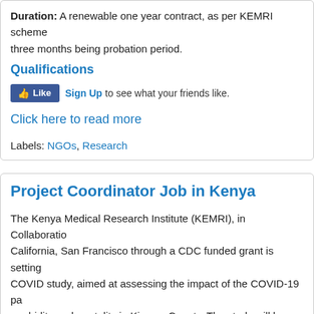Duration: A renewable one year contract, as per KEMRI scheme three months being probation period.
Qualifications
[Figure (other): Facebook Like button with Sign Up link and text 'to see what your friends like.']
Click here to read more
Labels: NGOs, Research
Project Coordinator Job in Kenya
The Kenya Medical Research Institute (KEMRI), in Collaboration with the University of California, San Francisco through a CDC funded grant is setting up a COVID study, aimed at assessing the impact of the COVID-19 pandemic on morbidity and mortality in Kisumu County. The study will be conducted in Kisumu County and is seeking for a self-motivated and proactive individual with qualifications below: